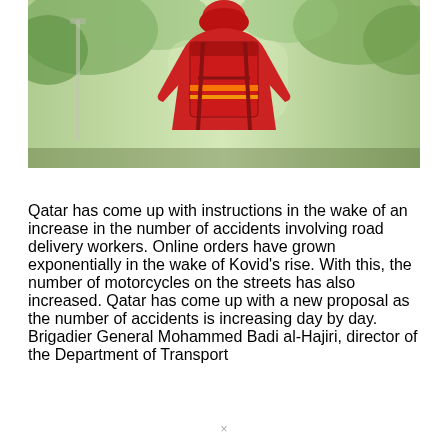[Figure (photo): A delivery worker from behind, wearing a red jacket and a red insulated delivery backpack with reflective strips. Trees and blurred background visible.]
Qatar has come up with instructions in the wake of an increase in the number of accidents involving road delivery workers. Online orders have grown exponentially in the wake of Kovid's rise. With this, the number of motorcycles on the streets has also increased. Qatar has come up with a new proposal as the number of accidents is increasing day by day. Brigadier General Mohammed Badi al-Hajiri, director of the Department of Transport
×